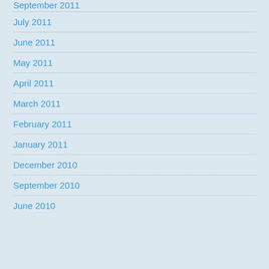September 2011
July 2011
June 2011
May 2011
April 2011
March 2011
February 2011
January 2011
December 2010
September 2010
June 2010